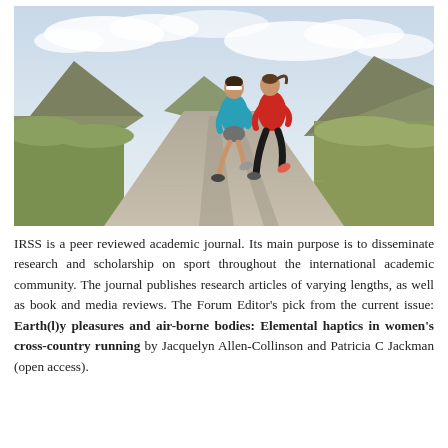[Figure (photo): Two women running on a dirt road through a mountainous landscape. The runner on the left wears a teal/turquoise jacket, grey shorts, and has a white headband. The runner on the right wears a red jacket and black capri leggings. Mountains and grassy terrain are visible in the background under a cloudy sky.]
IRSS is a peer reviewed academic journal. Its main purpose is to disseminate research and scholarship on sport throughout the international academic community. The journal publishes research articles of varying lengths, as well as book and media reviews. The Forum Editor's pick from the current issue: Earth(l)y pleasures and air-borne bodies: Elemental haptics in women's cross-country running by Jacquelyn Allen-Collinson and Patricia C Jackman (open access).